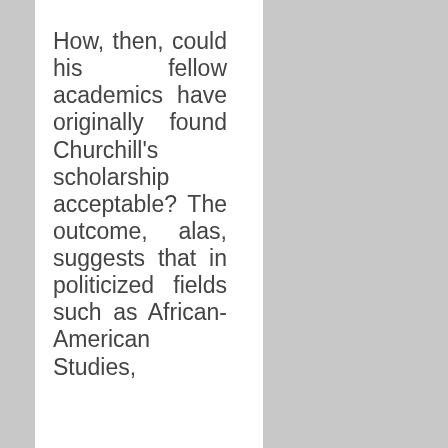How, then, could his fellow academics have originally found Churchill's scholarship acceptable? The outcome, alas, suggests that in politicized fields such as African-American Studies,